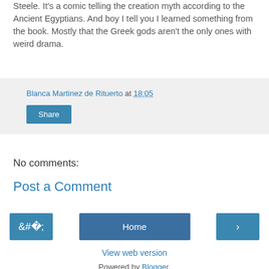Steele. It's a comic telling the creation myth according to the Ancient Egyptians. And boy I tell you I learned something from the book. Mostly that the Greek gods aren't the only ones with weird drama.
Blanca Martinez de Rituerto at 18:05
Share
No comments:
Post a Comment
‹
Home
›
View web version
Powered by Blogger.